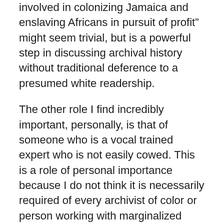involved in colonizing Jamaica and enslaving Africans in pursuit of profit” might seem trivial, but is a powerful step in discussing archival history without traditional deference to a presumed white readership.
The other role I find incredibly important, personally, is that of someone who is a vocal trained expert who is not easily cowed. This is a role of personal importance because I do not think it is necessarily required of every archivist of color or person working with marginalized people’s collections, but it is one that I try to fulfill as someone with the disposition and positionality to feel comfortable doing so. I have found that many White scholars in a variety of fields assume that people of color who work with materials from their own ethnic/racial/cultural groups are not true scholars—that their expertise comes solely from lived experience and personal opinion. Lived experiences and